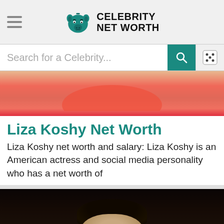Celebrity Net Worth — navigation header with logo and hamburger menu
Search for a Celebrity...
[Figure (photo): Cropped photo showing lower face of a woman with red lipstick and a big smile, dark background]
Liza Koshy Net Worth
Liza Koshy net worth and salary: Liza Koshy is an American actress and social media personality who has a net worth of
[Figure (photo): Photo of a young man with dark hair against a dark red/black background — partially cropped]
[Figure (photo): Partially visible face/head at bottom of page against light grey background]